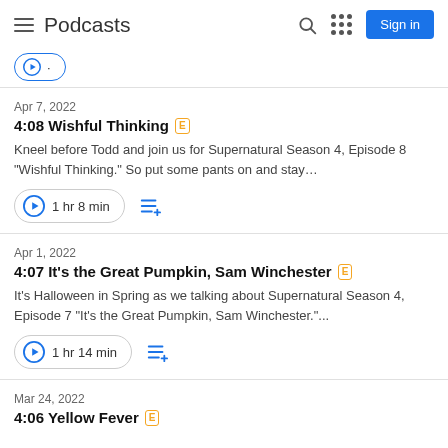Podcasts
Apr 7, 2022
4:08 Wishful Thinking [E]
Kneel before Todd and join us for Supernatural Season 4, Episode 8 "Wishful Thinking." So put some pants on and stay…
1 hr 8 min
Apr 1, 2022
4:07 It's the Great Pumpkin, Sam Winchester [E]
It's Halloween in Spring as we talking about Supernatural Season 4, Episode 7 "It's the Great Pumpkin, Sam Winchester."...
1 hr 14 min
Mar 24, 2022
4:06 Yellow Fever [E]